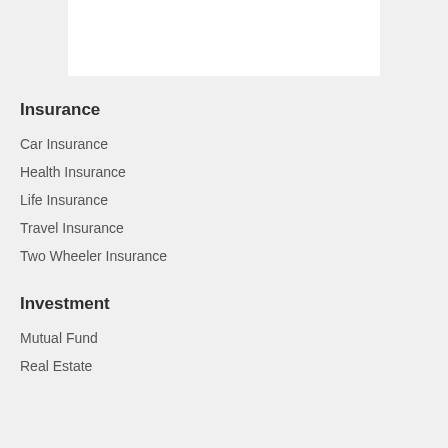[Figure (other): White rectangular box at the top of the page]
Insurance
Car Insurance
Health Insurance
Life Insurance
Travel Insurance
Two Wheeler Insurance
Investment
Mutual Fund
Real Estate